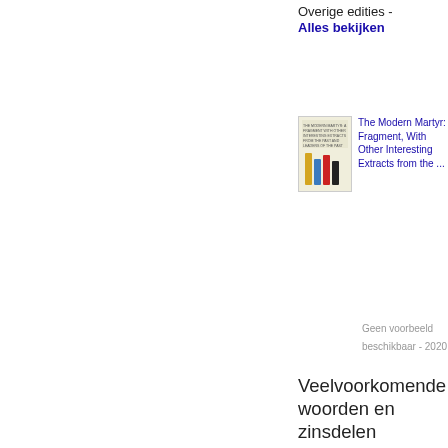Overige edities -
Alles bekijken
[Figure (photo): Book cover thumbnail showing colored vertical bars (yellow, blue, red, black) on light background]
The Modern Martyr: Fragment, With Other Interesting Extracts from the ...
Geen voorbeeld beschikbaar - 2020
Veelvoorkomende woorden en zinsdelen
admit
appear
attention
beautiful
become
believe
called
cause
character
Christ
Christian
church
circumstances
course
dear
death
Divine